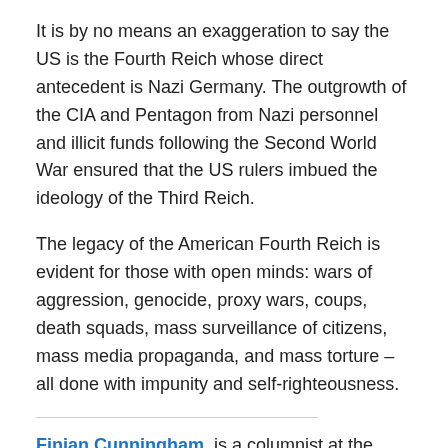It is by no means an exaggeration to say the US is the Fourth Reich whose direct antecedent is Nazi Germany. The outgrowth of the CIA and Pentagon from Nazi personnel and illicit funds following the Second World War ensured that the US rulers imbued the ideology of the Third Reich.
The legacy of the American Fourth Reich is evident for those with open minds: wars of aggression, genocide, proxy wars, coups, death squads, mass surveillance of citizens, mass media propaganda, and mass torture – all done with impunity and self-righteousness.
Finian Cunningham, is a columnist at the Strategic Culture Foundation and a Writer on Dandelion Salad. He can be reached at cunninghamfinian@gmail.com.